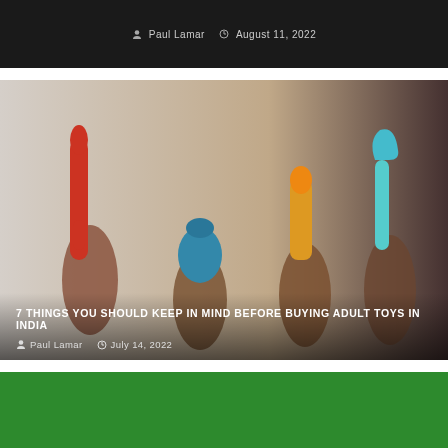[Figure (photo): Dark background card showing author and date metadata]
Paul Lamar   August 11, 2022
[Figure (photo): Multiple hands holding colorful adult toys (red, teal/blue, yellow/orange, light blue) against a light grey background]
7 THINGS YOU SHOULD KEEP IN MIND BEFORE BUYING ADULT TOYS IN INDIA
Paul Lamar   July 14, 2022
[Figure (photo): Bottom green card/banner, partially visible]